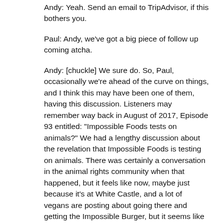Andy: Yeah. Send an email to TripAdvisor, if this bothers you.
Paul: Andy, we've got a big piece of follow up coming atcha.
Andy: [chuckle] We sure do. So, Paul, occasionally we're ahead of the curve on things, and I think this may have been one of them, having this discussion. Listeners may remember way back in August of 2017, Episode 93 entitled: "Impossible Foods tests on animals?" We had a lengthy discussion about the revelation that Impossible Foods is testing on animals. There was certainly a conversation in the animal rights community when that happened, but it feels like now, maybe just because it's at White Castle, and a lot of vegans are posting about going there and getting the Impossible Burger, but it seems like the arguments popping up online are much more frequent and much more heated than before. It's essentially regarding the fact that Impossible Foods did animal testing on their hemoglobin, the heme, if you will, the thing that makes their meat taste like meat. So, one, if you want to hear extensive thoughts about this, go back to Episode 93. We'll put a link to that in the show notes. But some new information's come out. I did a